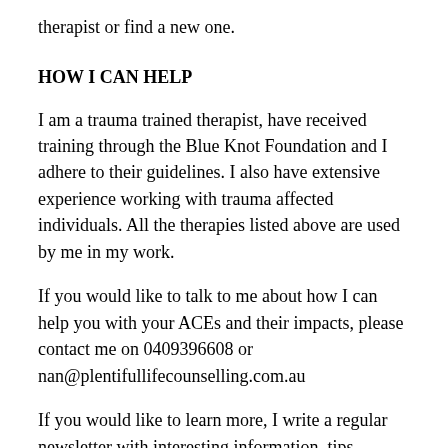therapist or find a new one.
HOW I CAN HELP
I am a trauma trained therapist, have received training through the Blue Knot Foundation and I adhere to their guidelines. I also have extensive experience working with trauma affected individuals. All the therapies listed above are used by me in my work.
If you would like to talk to me about how I can help you with your ACEs and their impacts, please contact me on 0409396608 or nan@plentifullifecounselling.com.au
If you would like to learn more, I write a regular newsletter with interesting information, tips, information on resources and therapy, aimed for bringing